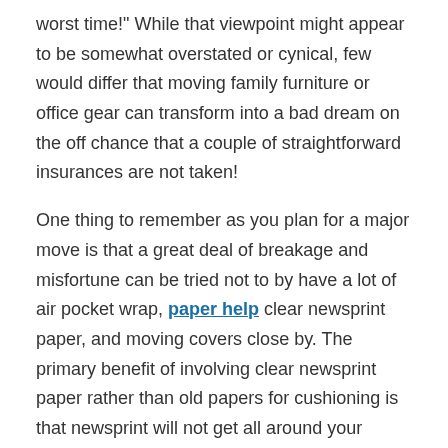worst time!" While that viewpoint might appear to be somewhat overstated or cynical, few would differ that moving family furniture or office gear can transform into a bad dream on the off chance that a couple of straightforward insurances are not taken!
One thing to remember as you plan for a major move is that a great deal of breakage and misfortune can be tried not to by have a lot of air pocket wrap, paper help clear newsprint paper, and moving covers close by. The primary benefit of involving clear newsprint paper rather than old papers for cushioning is that newsprint will not get all around your hands when you’re scrunching it up. Having a pile of old papers good to go, in any case, is anything but an impractical notion, in the event that you run out of the clear stuff.
Padding materials can in various structures, and are called everything from bubble wrap, wrapping paper, padding roll froth, and defensive folded wrap to vault cushions, furniture cushions,